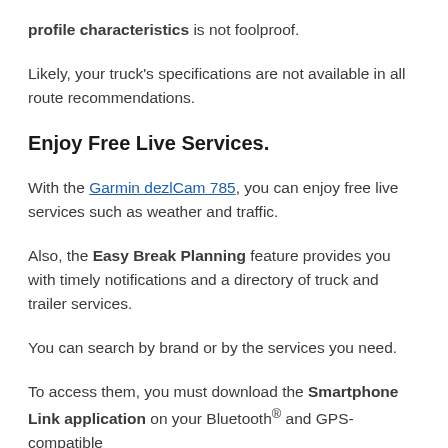profile characteristics is not foolproof.
Likely, your truck's specifications are not available in all route recommendations.
Enjoy Free Live Services.
With the Garmin dezlCam 785, you can enjoy free live services such as weather and traffic.
Also, the Easy Break Planning feature provides you with timely notifications and a directory of truck and trailer services.
You can search by brand or by the services you need.
To access them, you must download the Smartphone Link application on your Bluetooth® and GPS-compatible